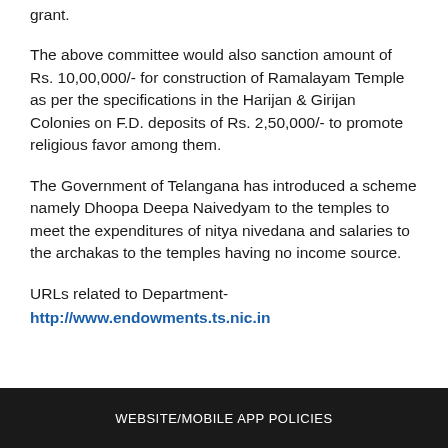grant.
The above committee would also sanction amount of Rs. 10,00,000/- for construction of Ramalayam Temple as per the specifications in the Harijan & Girijan Colonies on F.D. deposits of Rs. 2,50,000/- to promote religious favor among them.
The Government of Telangana has introduced a scheme namely Dhoopa Deepa Naivedyam to the temples to meet the expenditures of nitya nivedana and salaries to the archakas to the temples having no income source.
URLs related to Department-
http://www.endowments.ts.nic.in
WEBSITE/MOBILE APP POLICIES